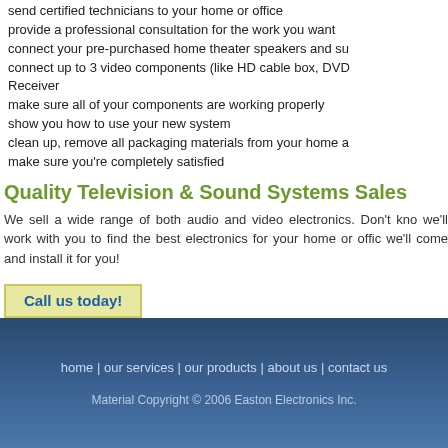send certified technicians to your home or office
provide a professional consultation for the work you want
connect your pre-purchased home theater speakers and su
connect up to 3 video components (like HD cable box, DVD Receiver
make sure all of your components are working properly
show you how to use your new system
clean up, remove all packaging materials from your home a
make sure you're completely satisfied
Quality Television & Sound Systems Sales
We sell a wide range of both audio and video electronics. Don't kno we'll work with you to find the best electronics for your home or offic we'll come and install it for you!
Call us today!
home | our services | our products | about us | contact us
Material Copyright © 2006 Easton Electronics Inc.